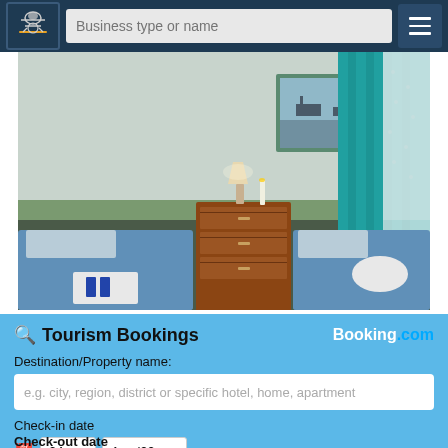[Figure (screenshot): Navigation bar with logo, business type or name search field, and hamburger menu on dark blue background]
[Figure (photo): Hotel room with two single beds with blue floral bedspreads, a wooden dresser with a lamp, a framed picture on the wall, and teal/turquoise curtains on the right window]
Tourism Bookings
Booking.com
Destination/Property name:
e.g. city, region, district or specific hotel, home, apartment
Check-in date
24 Aug '22